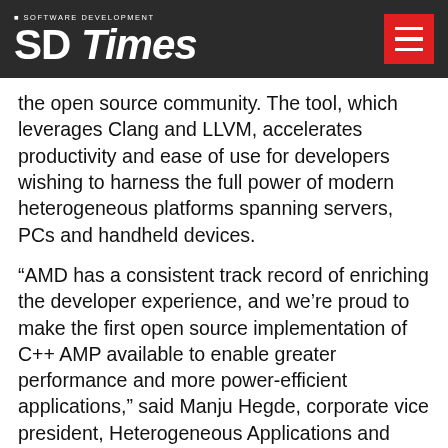SD Times — SOFTWARE DEVELOPMENT
the open source community. The tool, which leverages Clang and LLVM, accelerates productivity and ease of use for developers wishing to harness the full power of modern heterogeneous platforms spanning servers, PCs and handheld devices.
“AMD has a consistent track record of enriching the developer experience, and we’re proud to make the first open source implementation of C++ AMP available to enable greater performance and more power-efficient applications,” said Manju Hegde, corporate vice president, Heterogeneous Applications and Solutions, AMD. “The cross-platform release is another step in strengthening AMD’s developer solutions, allowing for increased productivity and accelerated applications through shared physical memory across the CPU and GPU on both Linux and Windows.”